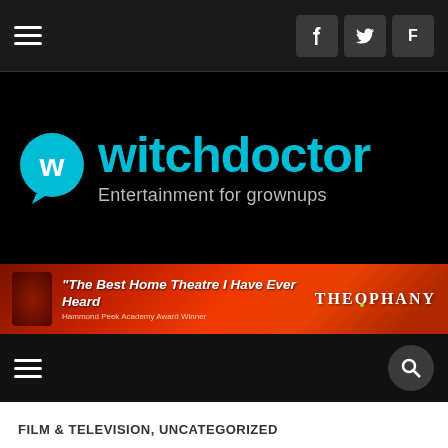witchdoctor — Entertainment for grownups
[Figure (logo): Witchdoctor website logo: cyan speech bubble with W, cyan text 'witchdoctor', grey tagline 'Entertainment for grownups' on black background]
[Figure (other): Advertisement banner: red/orange gradient background with quote 'The Best Home Theatre I Have Ever Heard' attributed to Hammond Peek Academy Award Winner, THEOPHANY brand name on right]
FILM & TELEVISION, UNCATEGORIZED
American Animals: An Absorbing, Intoxicating Tale